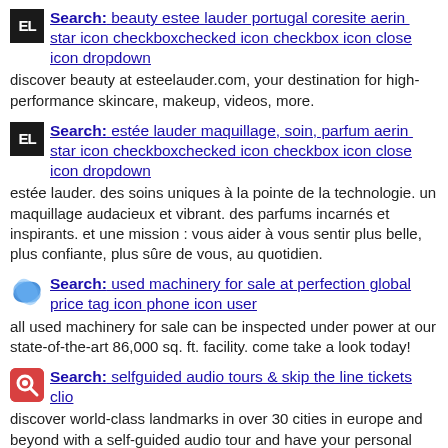Search: beauty estee lauder portugal coresite aerin star icon checkboxchecked icon checkbox icon close icon dropdown
discover beauty at esteelauder.com, your destination for high-performance skincare, makeup, videos, more.
Search: estée lauder maquillage, soin, parfum aerin star icon checkboxchecked icon checkbox icon close icon dropdown
estée lauder. des soins uniques à la pointe de la technologie. un maquillage audacieux et vibrant. des parfums incarnés et inspirants. et une mission : vous aider à vous sentir plus belle, plus confiante, plus sûre de vous, au quotidien.
Search: used machinery for sale at perfection global price tag icon phone icon user
all used machinery for sale can be inspected under power at our state-of-the-art 86,000 sq. ft. facility. come take a look today!
Search: selfguided audio tours & skip the line tickets clio
discover world-class landmarks in over 30 cities in europe and beyond with a self-guided audio tour and have your personal tour guide on your headphones.